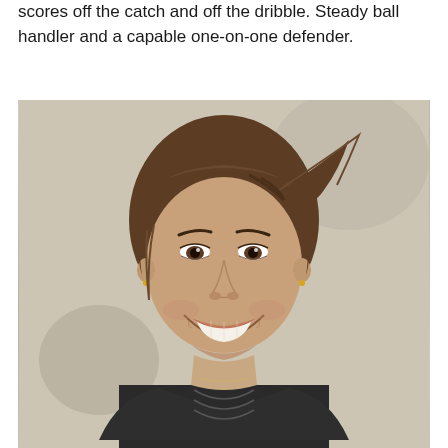scores off the catch and off the dribble. Steady ball handler and a capable one-on-one defender.
[Figure (photo): Headshot photo of a young female basketball player smiling, wearing a dark athletic jersey, against a light beige/cream wall background. Hair pulled back, small gold earrings visible.]